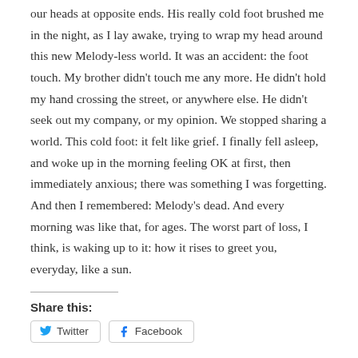our heads at opposite ends. His really cold foot brushed me in the night, as I lay awake, trying to wrap my head around this new Melody-less world. It was an accident: the foot touch. My brother didn't touch me any more. He didn't hold my hand crossing the street, or anywhere else. He didn't seek out my company, or my opinion. We stopped sharing a world. This cold foot: it felt like grief. I finally fell asleep, and woke up in the morning feeling OK at first, then immediately anxious; there was something I was forgetting. And then I remembered: Melody's dead. And every morning was like that, for ages. The worst part of loss, I think, is waking up to it: how it rises to greet you, everyday, like a sun.
Share this: